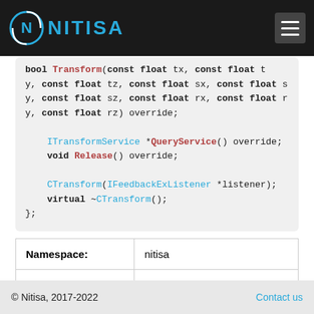NITISA
[Figure (screenshot): Code block showing C++ class methods: bool Transform with float parameters tx, ty, tz, sx, sy, sz, rx, ry, rz override; ITransformService *QueryService() override; void Release() override; CTransform(IFeedbackExListener *listener); virtual ~CTransform();]
| Namespace: | nitisa |
| Include: | Nitisa/Core/Transform.h |
© Nitisa, 2017-2022    Contact us